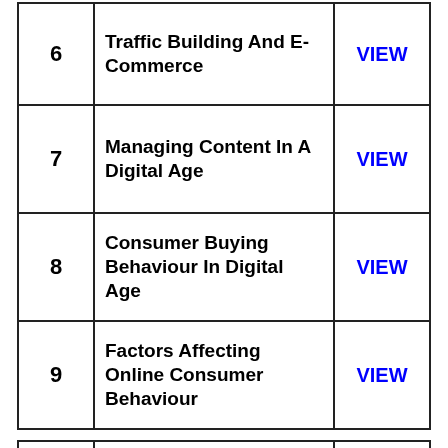| # | Topic | Action |
| --- | --- | --- |
| 6 | Traffic Building And E-Commerce | VIEW |
| 7 | Managing Content In A Digital Age | VIEW |
| 8 | Consumer Buying Behaviour In Digital Age | VIEW |
| 9 | Factors Affecting Online Consumer Behaviour | VIEW |
| # | Topic | Action |
| --- | --- | --- |
|  | UNIT 3 Acquiring & Engaging Users through Digital Channels [Book Link] |  |
|  | Understanding The |  |